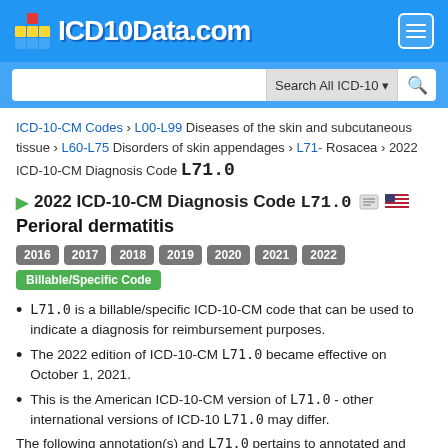[Figure (logo): ICD10Data.com logo with colorful block icon on blue header background]
Search All ICD-10 ▾ 🔍
ICD-10-CM Codes › L00-L99 Diseases of the skin and subcutaneous tissue › L60-L75 Disorders of skin appendages › L71- Rosacea › 2022 ICD-10-CM Diagnosis Code L71.0
2022 ICD-10-CM Diagnosis Code L71.0
Perioral dermatitis
2016 2017 2018 2019 2020 2021 2022 Billable/Specific Code
L71.0 is a billable/specific ICD-10-CM code that can be used to indicate a diagnosis for reimbursement purposes.
The 2022 edition of ICD-10-CM L71.0 became effective on October 1, 2021.
This is the American ICD-10-CM version of L71.0 - other international versions of ICD-10 L71.0 may differ.
The following annotation(s) and L71.0 pertains to annotated and...